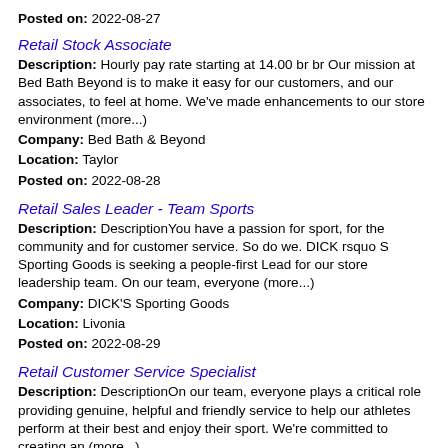Posted on: 2022-08-27
Retail Stock Associate
Description: Hourly pay rate starting at 14.00 br br Our mission at Bed Bath Beyond is to make it easy for our customers, and our associates, to feel at home. We've made enhancements to our store environment (more...)
Company: Bed Bath & Beyond
Location: Taylor
Posted on: 2022-08-28
Retail Sales Leader - Team Sports
Description: DescriptionYou have a passion for sport, for the community and for customer service. So do we. DICK rsquo S Sporting Goods is seeking a people-first Lead for our store leadership team. On our team, everyone (more...)
Company: DICK'S Sporting Goods
Location: Livonia
Posted on: 2022-08-29
Retail Customer Service Specialist
Description: DescriptionOn our team, everyone plays a critical role providing genuine, helpful and friendly service to help our athletes perform at their best and enjoy their sport. We're committed to creating an (more...)
Company: DICK'S Sporting Goods
Location: Livonia
Posted on: 2022-08-29